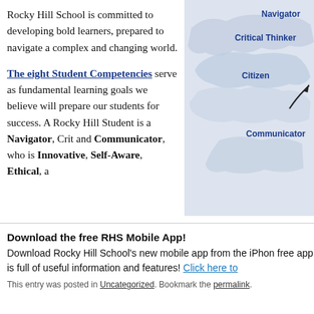Rocky Hill School is committed to developing bold learners, prepared to navigate a complex and changing world.
[Figure (infographic): A partial map graphic showing student competency labels: Navigator, Critical Thinker, Citizen, Communicator]
The eight Student Competencies serve as fundamental learning goals we believe will prepare our students for success. A Rocky Hill Student is a Navigator, Crit... and Communicator, who is Innovative, Self-Aware, Ethical, a...
Download the free RHS Mobile App! Download Rocky Hill School's new mobile app from the iPhone... free app is full of useful information and features! Click here to...
This entry was posted in Uncategorized. Bookmark the permalink.